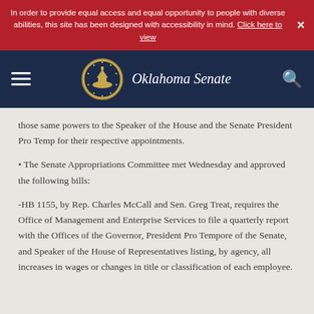In order to provide equal access and equal opportunity to people with diverse abilities, this site has been designed with accessibility in mind. Click here to view
[Figure (screenshot): Oklahoma Senate navigation bar with hamburger menu, state seal, title 'Oklahoma Senate', and search icon on dark navy background]
those same powers to the Speaker of the House and the Senate President Pro Temp for their respective appointments.
• The Senate Appropriations Committee met Wednesday and approved the following bills:
-HB 1155, by Rep. Charles McCall and Sen. Greg Treat, requires the Office of Management and Enterprise Services to file a quarterly report with the Offices of the Governor, President Pro Tempore of the Senate, and Speaker of the House of Representatives listing, by agency, all increases in wages or changes in title or classification of each employee.